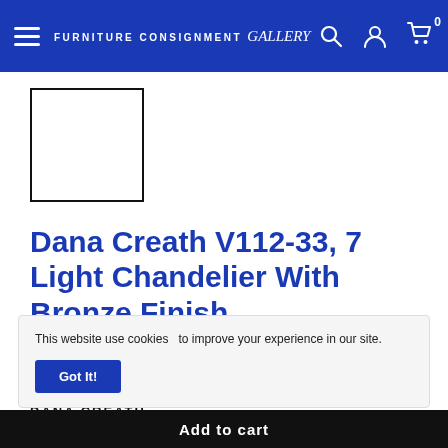Furniture Consignment Gallery
[Figure (photo): Product thumbnail image placeholder (empty white box with black border)]
Dana Creath V112-33, 7 Light Chandelier With Bronze Finish
Save $166.00
DANA CREATH
This website use cookies   to improve your experience in our site.
Got It!
Add to cart